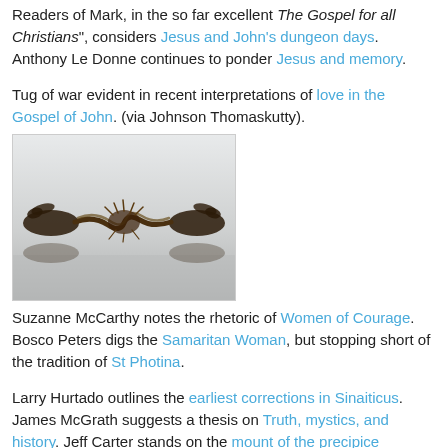Readers of Mark, in the so far excellent The Gospel for all Christians", considers Jesus and John's dungeon days. Anthony Le Donne continues to ponder Jesus and memory.
Tug of war evident in recent interpretations of love in the Gospel of John. (via Johnson Thomaskutty).
[Figure (photo): Silhouette photo of two hands pulling a twisted rope/cord from opposite sides (tug of war), light gray background.]
Suzanne McCarthy notes the rhetoric of Women of Courage. Bosco Peters digs the Samaritan Woman, but stopping short of the tradition of St Photina.
Larry Hurtado outlines the earliest corrections in Sinaiticus. James McGrath suggests a thesis on Truth, mystics, and history. Jeff Carter stands on the mount of the precipice (maybe).